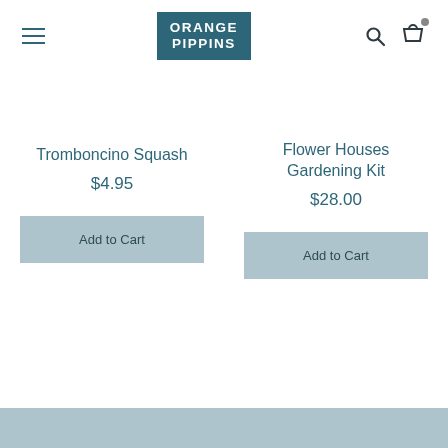Orange Pippins
Tromboncino Squash
$4.95
Add to Cart
Flower Houses Gardening Kit
$28.00
Add to Cart